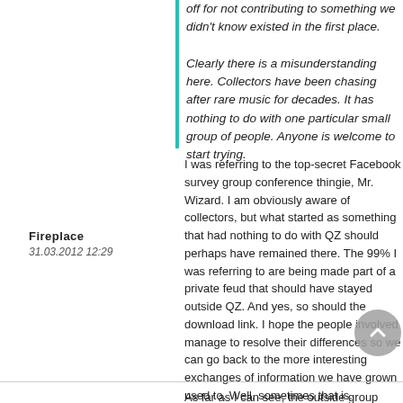off for not contributing to something we didn't know existed in the first place.
Clearly there is a misunderstanding here. Collectors have been chasing after rare music for decades. It has nothing to do with one particular small group of people. Anyone is welcome to start trying.
Fireplace
31.03.2012 12:29
I was referring to the top-secret Facebook survey group conference thingie, Mr. Wizard. I am obviously aware of collectors, but what started as something that had nothing to do with QZ should perhaps have remained there. The 99% I was referring to are being made part of a private feud that should have stayed outside QZ. And yes, so should the download link. I hope the people involved manage to resolve their differences so we can go back to the more interesting exchanges of information we have grown used to. Well, sometimes that is.
As far as I can see, the outside group would ha